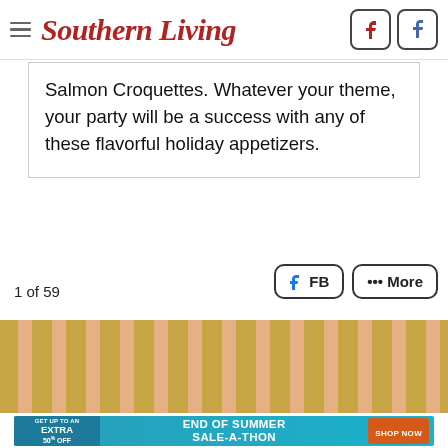Southern Living
Salmon Croquettes. Whatever your theme, your party will be a success with any of these flavorful holiday appetizers.
1 of 59
[Figure (screenshot): FB and More share buttons]
[Figure (photo): Decorative gold and pink glitter stripes background image]
[Figure (infographic): Advertisement banner: GET UP TO AN EXTRA 50% OFF - END OF SUMMER SALE-A-THON - SHOP NOW]